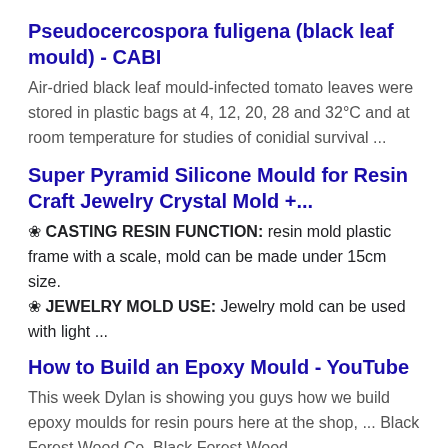Pseudocercospora fuligena (black leaf mould) - CABI
Air-dried black leaf mould-infected tomato leaves were stored in plastic bags at 4, 12, 20, 28 and 32°C and at room temperature for studies of conidial survival ...
Super Pyramid Silicone Mould for Resin Craft Jewelry Crystal Mold +...
❀ CASTING RESIN FUNCTION: resin mold plastic frame with a scale, mold can be made under 15cm size.
❀ JEWELRY MOLD USE: Jewelry mold can be used with light ...
How to Build an Epoxy Mould - YouTube
This week Dylan is showing you guys how we build epoxy moulds for resin pours here at the shop, ... Black Forest Wood Co. Black Forest Wood ...